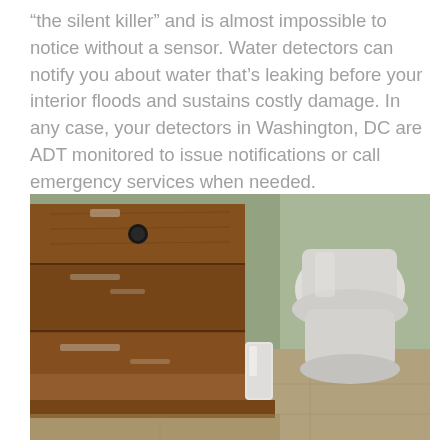“the silent killer” and is almost impossible to notice without a sensor. Water detectors can notify you about water that’s leaking before your interior floods and sustains costly damage. In any case, your detectors in Washington, DC are ADT monitored to issue notifications or call emergency services when needed.
[Figure (photo): Close-up photo of a water sensor device placed on a bathroom floor next to a wooden cabinet, with a toilet visible in the background.]